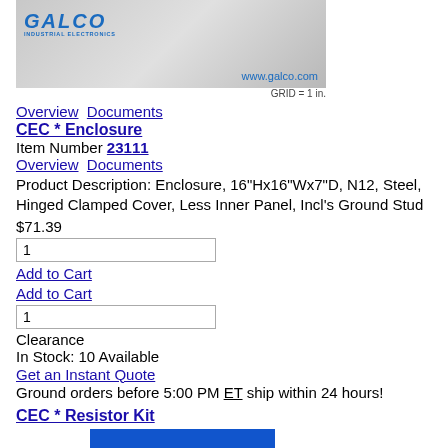[Figure (photo): Gray metal enclosure box with Galco Industrial Electronics logo and www.galco.com URL. GRID = 1 in. label below image.]
Overview  Documents
CEC * Enclosure
Item Number 23111
Overview  Documents
Product Description: Enclosure, 16"Hx16"Wx7"D, N12, Steel, Hinged Clamped Cover, Less Inner Panel, Incl's Ground Stud
$71.39
1
Add to Cart
Add to Cart
1
Clearance
In Stock: 10 Available
Get an Instant Quote
Ground orders before 5:00 PM ET ship within 24 hours!
CEC * Resistor Kit
[Figure (illustration): Blue placeholder image with white circle and white triangle shapes]